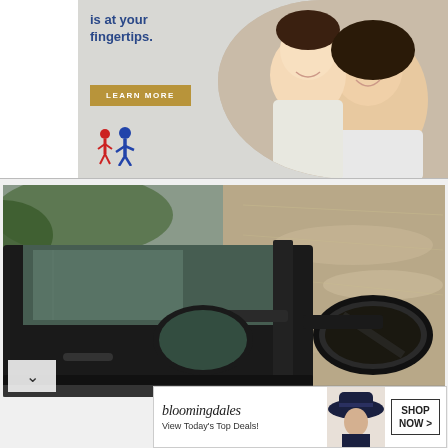[Figure (photo): Advertisement banner showing woman and child smiling with text 'is at your fingertips.' and a gold 'LEARN MORE' button, plus a family figures logo]
[Figure (photo): Close-up photo of a car side mirror and door reflected in flood water or wet road surface]
[Figure (photo): Bloomingdale's advertisement banner reading 'bloomingdales View Today's Top Deals!' with a woman in a hat and 'SHOP NOW >' button]